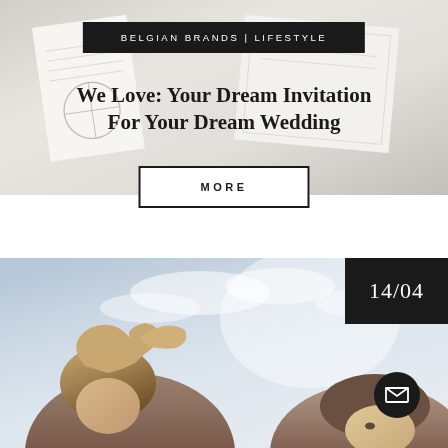BELGIAN BRANDS | LIFESTYLE
We Love: Your Dream Invitation For Your Dream Wedding
MORE
14/04
[Figure (photo): Two people outdoors with wind-blown hair against a bright sky background]